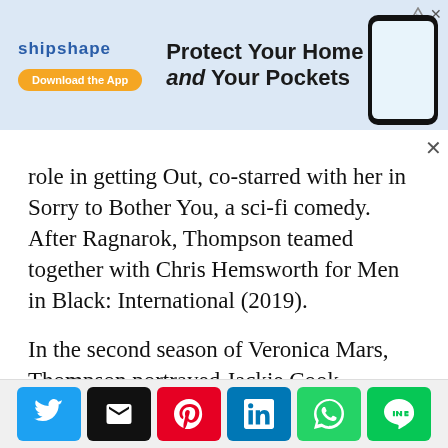[Figure (infographic): Advertisement banner for 'shipshape' app with text 'Protect Your Home and Your Pockets', a Download the App button, a phone mockup, and a house image on blue background.]
role in getting Out, co-starred with her in Sorry to Bother You, a sci-fi comedy. After Ragnarok, Thompson teamed together with Chris Hemsworth for Men in Black: International (2019).
In the second season of Veronica Mars, Thompson portrayed Jackie Cook, Wallace Fennel’s love interest. Despite the fact that the show’s fans did not warm up to Thompson’s character, she was thrust into the limelight and encouraged to seek out more complex roles.
[Figure (infographic): Social share bar with six buttons: Twitter (blue), Email (black), Pinterest (red), LinkedIn (blue), WhatsApp (green), Line (green).]